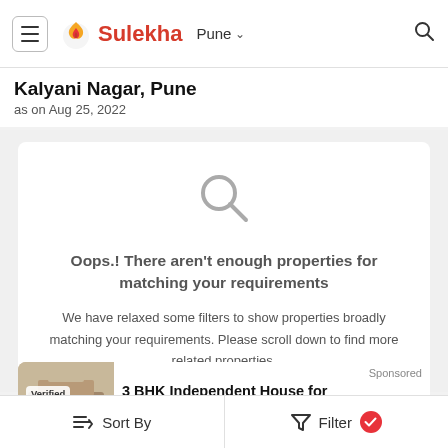Sulekha — Pune
Kalyani Nagar, Pune
as on Aug 25, 2022
Oops.! There aren't enough properties for matching your requirements

We have relaxed some filters to show properties broadly matching your requirements. Please scroll down to find more related properties.
Sponsored
3 BHK Independent House for Rent in Kharadi
Sort By   Filter